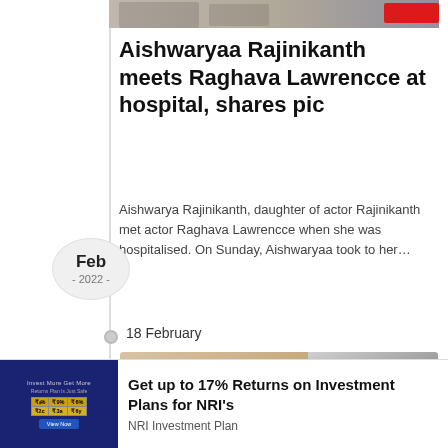[Figure (photo): Top image strip showing people, partially visible, with a red button on the right]
Aishwaryaa Rajinikanth meets Raghava Lawrencce at hospital, shares pic
Aishwarya Rajinikanth, daughter of actor Rajinikanth met actor Raghava Lawrencce when she was hospitalised. On Sunday, Aishwaryaa took to her…
Feb
- 2022 -
18 February
[Figure (photo): Two-panel image: left shows a skin/body close-up, right shows an elderly person with grey hair]
Get up to 17% Returns on Investment Plans for NRI's
NRI Investment Plan